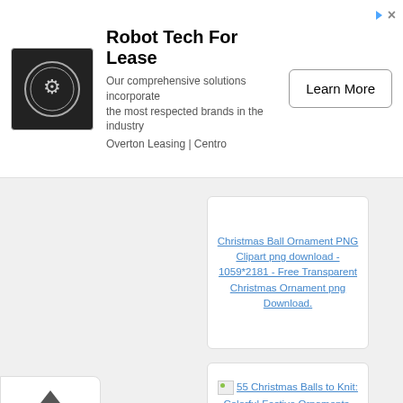[Figure (other): Advertisement banner for Robot Tech For Lease by Overton Leasing | Centro with a circular logo, description text, and Learn More button]
Christmas Ball Ornament PNG Clipart png download - 1059*2181 - Free Transparent Christmas Ornament png Download.
55 Christmas Balls to Knit: Colorful Festive Ornaments, Tree Decorations, Centerpieces, Wreaths, Window Dressings Christmas ornament Christmas decoration - Christmas Ball PNG Transparent Images png